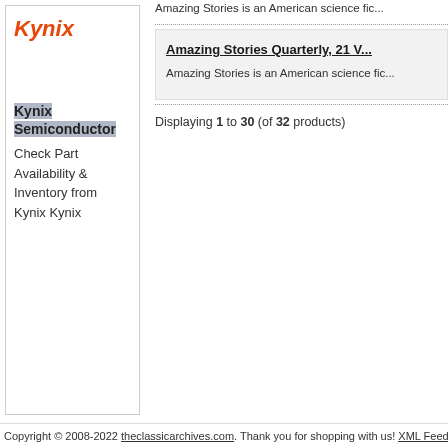[Figure (logo): Kynix logo in red italic bold text]
Kynix Semiconductor
Check Part Availability & Inventory from Kynix Kynix
Amazing Stories is an American science fic...
Amazing Stories Quarterly, 21 V...
Amazing Stories is an American science fic...
Displaying 1 to 30 (of 32 products)
Copyright © 2008-2022 theclassicarchives.com. Thank you for shopping with us! XML Feed Sitemap...